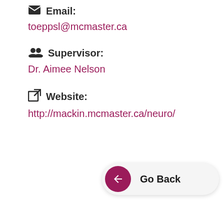Email:
toeppsl@mcmaster.ca
Supervisor:
Dr. Aimee Nelson
Website:
http://mackin.mcmaster.ca/neuro/
Go Back